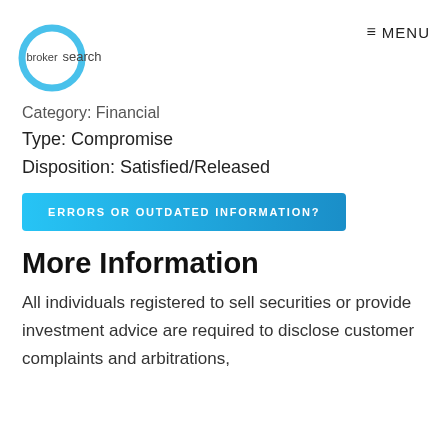[Figure (logo): Broker Search logo: blue circle ring with 'broker' inside and 'search' to the right]
≡ MENU
Category: Financial
Type: Compromise
Disposition: Satisfied/Released
ERRORS OR OUTDATED INFORMATION?
More Information
All individuals registered to sell securities or provide investment advice are required to disclose customer complaints and arbitrations,